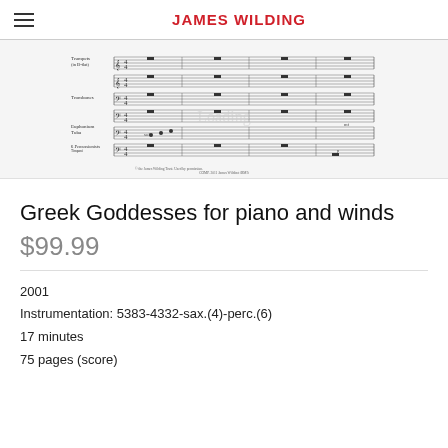JAMES WILDING
[Figure (illustration): Musical score excerpt showing orchestral notation for Trumpets, Trombones, Euphonium, Tuba, 6 Percussionists (Timpani, tubular bells/glockenspiel/vibraphone/marimba, temple blocks/wood block/triangle/suspended cymbal, cymbals/tam-tam/snare drum/2 large drums/bass drum), and Double Basses. Score is in a 4/4 time signature with whole rests and some melodic activity. Copyright 'COMP. 2011 James Wilding (BMI)' shown at bottom.]
Greek Goddesses for piano and winds
$99.99
2001
Instrumentation: 5383-4332-sax.(4)-perc.(6)
17 minutes
75 pages (score)